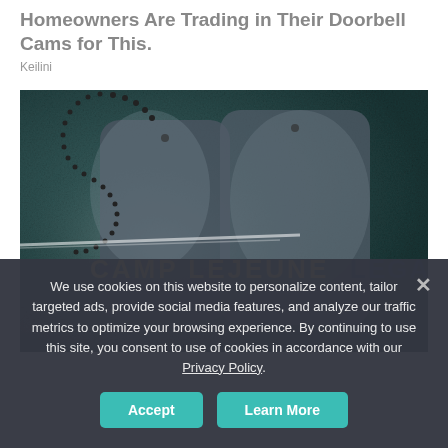Homeowners Are Trading in Their Doorbell Cams for This.
Keilini
[Figure (photo): Advertisement image showing military dog tags on a dark textured background with text 'CAMP LEJEUNE LEGAL' in yellow and navy letters]
We use cookies on this website to personalize content, tailor targeted ads, provide social media features, and analyze our traffic metrics to optimize your browsing experience. By continuing to use this site, you consent to use of cookies in accordance with our Privacy Policy.
Accept
Learn More